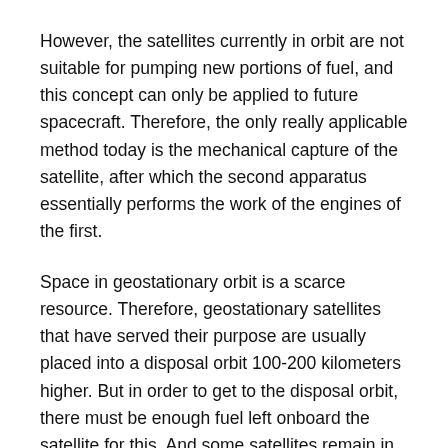However, the satellites currently in orbit are not suitable for pumping new portions of fuel, and this concept can only be applied to future spacecraft. Therefore, the only really applicable method today is the mechanical capture of the satellite, after which the second apparatus essentially performs the work of the engines of the first.
Space in geostationary orbit is a scarce resource. Therefore, geostationary satellites that have served their purpose are usually placed into a disposal orbit 100-200 kilometers higher. But in order to get to the disposal orbit, there must be enough fuel left onboard the satellite for this. And some satellites remain in geostationary orbit, turning into space debris.